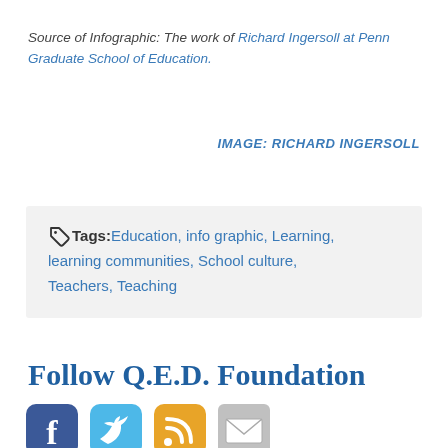Source of Infographic: The work of Richard Ingersoll at Penn Graduate School of Education.
IMAGE: RICHARD INGERSOLL
Tags: Education, info graphic, Learning, learning communities, School culture, Teachers, Teaching
Follow Q.E.D. Foundation
[Figure (infographic): Social media icons: Facebook (blue), Twitter (light blue), RSS feed (orange), Email (grey envelope)]